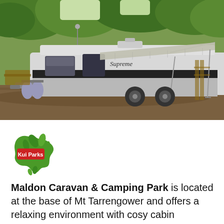[Figure (photo): A white Supreme brand caravan/travel trailer with an extended awning parked on a gravel surface in a lush green wooded area. A picnic table is visible in the background.]
[Figure (logo): Kui Parks logo: green Australia map shape with leaf/foliage design and a red badge reading 'Kui Parks']
Maldon Caravan & Camping Park is located at the base of Mt Tarrengower and offers a relaxing environment with cosy cabin accommodation and bush setting camping and caravanning sites for a